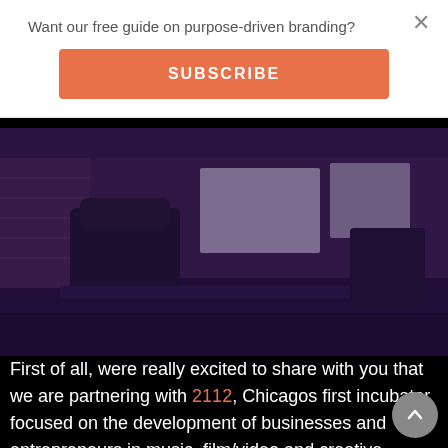Want our free guide on purpose-driven branding?
SUBSCRIBE
[Figure (photo): Interior office space photo with dark purple/blue tint overlay showing chairs, desks, and equipment in an open workspace area.]
First of all, were really excited to share with you that we are partnering with 2112, Chicagos first incubator focused on the development of businesses and entrepreneurs in music, film/video and creative